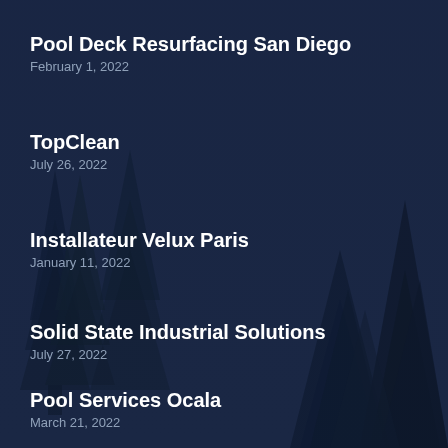Pool Deck Resurfacing San Diego
February 1, 2022
TopClean
July 26, 2022
Installateur Velux Paris
January 11, 2022
Solid State Industrial Solutions
July 27, 2022
Pool Services Ocala
March 21, 2022